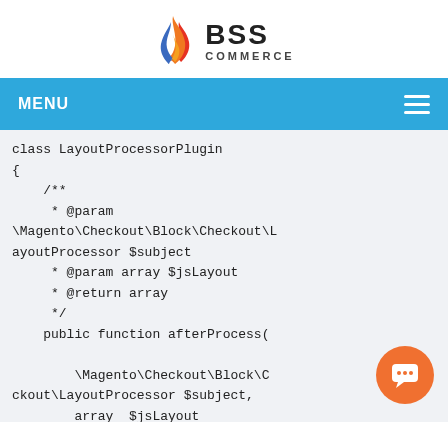BSS COMMERCE (logo)
MENU
class LayoutProcessorPlugin
{
    /**
     * @param \Magento\Checkout\Block\Checkout\L
ayoutProcessor $subject
     * @param array $jsLayout
     * @return array
     */
    public function afterProcess(

        \Magento\Checkout\Block\C
ckout\LayoutProcessor $subject,
        array  $jsLayout